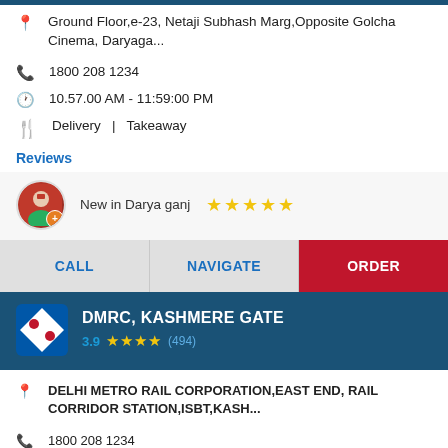Ground Floor,e-23, Netaji Subhash Marg,Opposite Golcha Cinema, Daryaga...
1800 208 1234
10.57.00 AM - 11:59:00 PM
Delivery | Takeaway
Reviews
New in Darya ganj ★★★★★
CALL  NAVIGATE  ORDER
DMRC, KASHMERE GATE
3.9 ★★★★ (494)
DELHI METRO RAIL CORPORATION,EAST END, RAIL CORRIDOR STATION,ISBT,KASH...
1800 208 1234
10.57.00 AM - 11:59:00 PM